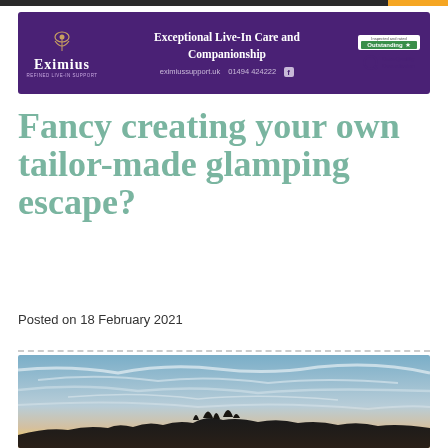[Figure (infographic): Eximius Live-In Care banner advertisement with purple background, logo, tagline 'Exceptional Live-In Care and Companionship', contact details eximiussupport.uk 01494 424222, and CareQuality Commission Outstanding badge]
Fancy creating your own tailor-made glamping escape?
Posted on 18 February 2021
[Figure (photo): Landscape photo showing a wide sky with wispy clouds at dusk/dawn with warm light at the horizon, and dark silhouette of trees/hills at the bottom]